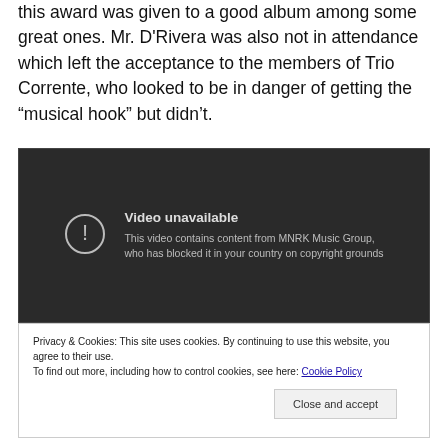this award was given to a good album among some great ones. Mr. D'Rivera was also not in attendance which left the acceptance to the members of Trio Corrente, who looked to be in danger of getting the “musical hook” but didn’t.
[Figure (screenshot): Embedded video player showing 'Video unavailable' message: 'This video contains content from MNRK Music Group, who has blocked it in your country on copyright grounds']
Privacy & Cookies: This site uses cookies. By continuing to use this website, you agree to their use.
To find out more, including how to control cookies, see here: Cookie Policy
Close and accept